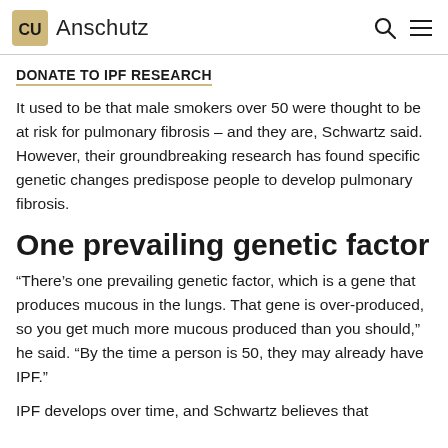CU Anschutz
DONATE TO IPF RESEARCH
It used to be that male smokers over 50 were thought to be at risk for pulmonary fibrosis – and they are, Schwartz said. However, their groundbreaking research has found specific genetic changes predispose people to develop pulmonary fibrosis.
One prevailing genetic factor
“There’s one prevailing genetic factor, which is a gene that produces mucous in the lungs. That gene is over-produced, so you get much more mucous produced than you should,” he said. “By the time a person is 50, they may already have IPF.”
IPF develops over time, and Schwartz believes that